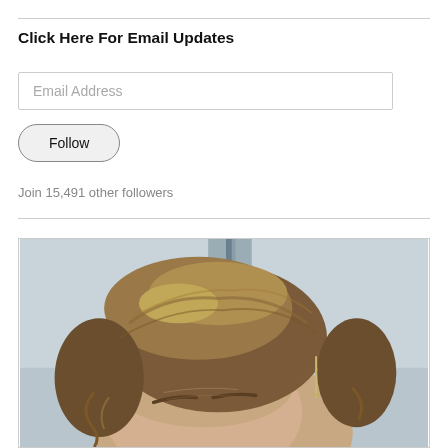Click Here For Email Updates
Email Address
Follow
Join 15,491 other followers
[Figure (photo): Close-up photograph of a woman's face and hair, showing a brown updo hairstyle with a hair clip, against a light grey/blue background.]